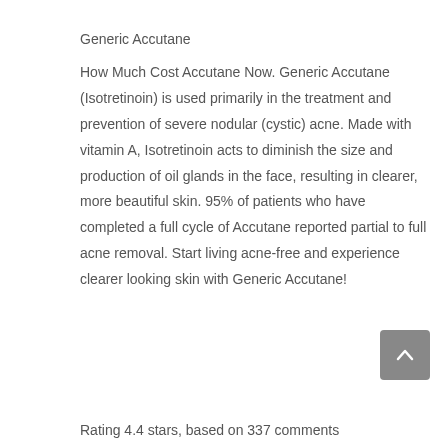Generic Accutane
How Much Cost Accutane Now. Generic Accutane (Isotretinoin) is used primarily in the treatment and prevention of severe nodular (cystic) acne. Made with vitamin A, Isotretinoin acts to diminish the size and production of oil glands in the face, resulting in clearer, more beautiful skin. 95% of patients who have completed a full cycle of Accutane reported partial to full acne removal. Start living acne-free and experience clearer looking skin with Generic Accutane!
Rating 4.4 stars, based on 337 comments